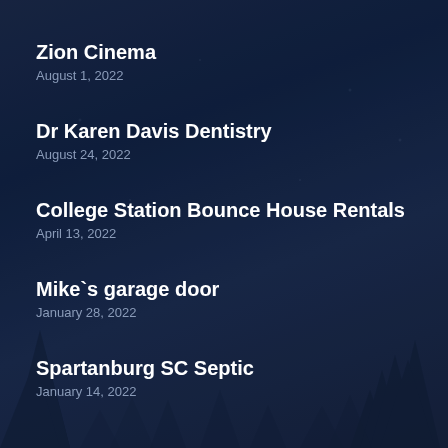Zion Cinema
August 1, 2022
Dr Karen Davis Dentistry
August 24, 2022
College Station Bounce House Rentals
April 13, 2022
Mike`s garage door
January 28, 2022
Spartanburg SC Septic
January 14, 2022